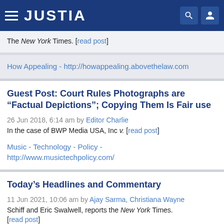JUSTIA
The New York Times. [read post]
How Appealing - http://howappealing.abovethelaw.com
Guest Post: Court Rules Photographs are “Factual Depictions”; Copying Them Is Fair use
26 Jun 2018, 6:14 am by Editor Charlie
In the case of BWP Media USA, Inc v. [read post]
Music - Technology - Policy - http://www.musictechpolicy.com/
Today’s Headlines and Commentary
11 Jun 2021, 10:06 am by Ajay Sarma, Christiana Wayne Schiff and Eric Swalwell, reports the New York Times. [read post]